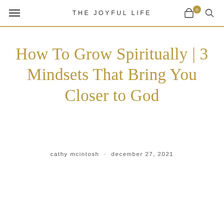THE JOYFUL LIFE
How To Grow Spiritually | 3 Mindsets That Bring You Closer to God
cathy mcintosh · december 27, 2021